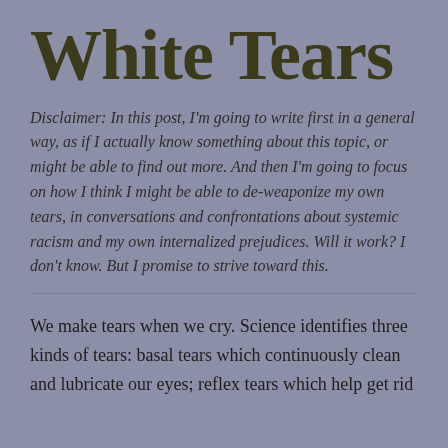White Tears
Disclaimer: In this post, I'm going to write first in a general way, as if I actually know something about this topic, or might be able to find out more. And then I'm going to focus on how I think I might be able to de-weaponize my own tears, in conversations and confrontations about systemic racism and my own internalized prejudices. Will it work? I don't know. But I promise to strive toward this.
We make tears when we cry. Science identifies three kinds of tears: basal tears which continuously clean and lubricate our eyes; reflex tears which help get rid